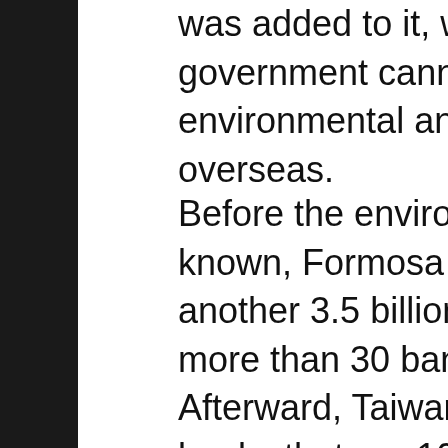was added to it, which means the Taiwanese government cannot penalize a corporation for environmental and human rights misdeeds overseas.
Before the environmental disaster was known, Formosa Plastics Group received another 3.5 billion US dollars in loans from more than 30 banks in Taiwan and overseas. Afterward, Taiwanese NGOs asked two banks that are 100% controlled by Taiwan government, Bank of Taiwan and Land Bank of Taiwan, to consider adopting the Equator Principles — a set of standards for financial institutions to assess environmental and social risk in project finance — but they declined. On the other hand, two others commercial banks among the 30, Cathay United Bank and E.SUN Commercial Bank, have signed them.
Taiwanese are no stranger to environmental disasters. Yuyin Chang of the EJA talked about how the past influenced their solidarity during a